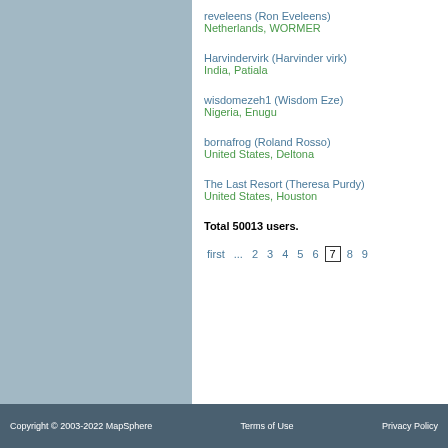reveleens (Ron Eveleens)
Netherlands, WORMER
Harvindervirk (Harvinder virk)
India, Patiala
wisdomezeh1 (Wisdom Eze)
Nigeria, Enugu
bornafrog (Roland Rosso)
United States, Deltona
The Last Resort (Theresa Purdy)
United States, Houston
Total 50013 users.
first ... 2 3 4 5 6 7 8 9
Copyright © 2003-2022 MapSphere    Terms of Use    Privacy Policy